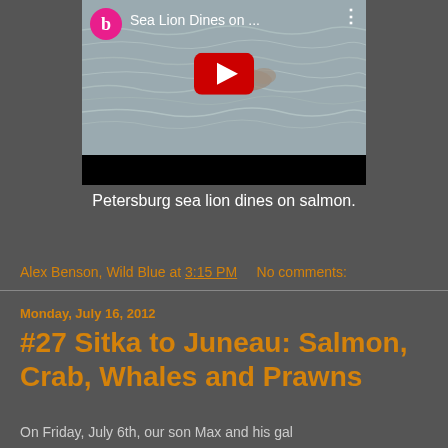[Figure (screenshot): YouTube video thumbnail showing a sea lion in water with title 'Sea Lion Dines on ...' and a red play button, with Blogger icon and video controls]
Petersburg sea lion dines on salmon.
Alex Benson, Wild Blue at 3:15 PM    No comments:
Monday, July 16, 2012
#27 Sitka to Juneau: Salmon, Crab, Whales and Prawns
On Friday, July 6th, our son Max and his gal